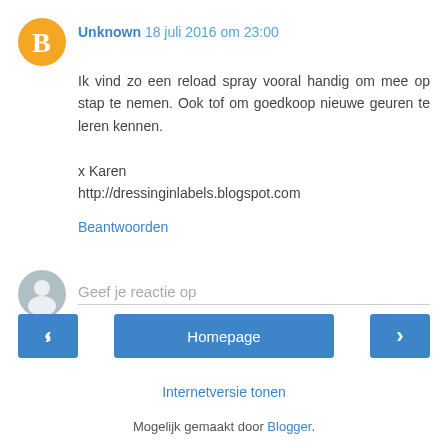Unknown 18 juli 2016 om 23:00
Ik vind zo een reload spray vooral handig om mee op stap te nemen. Ook tof om goedkoop nieuwe geuren te leren kennen.

x Karen
http://dressinginlabels.blogspot.com
Beantwoorden
[Figure (other): Comment input area with user avatar and placeholder text 'Geef je reactie op']
[Figure (other): Navigation bar with left arrow button, Homepage button, right arrow button]
Internetversie tonen
Mogelijk gemaakt door Blogger.